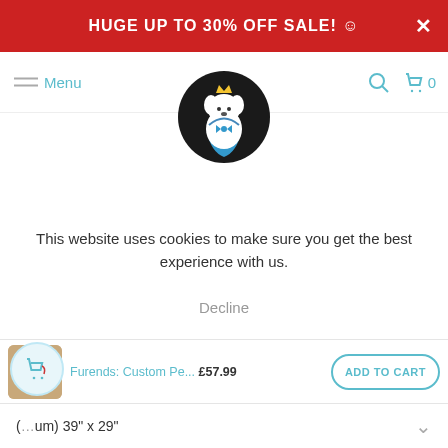HUGE Up To 30% OFF SALE! ☺
[Figure (logo): Paw and Glory brand logo: cartoon white dog wearing a blue cape with a crown, on black circle background]
Menu
This website uses cookies to make sure you get the best experience with us.
Decline
Furends: Custom Pe... £57.99
ADD TO CART
(Medium) 39" x 29"